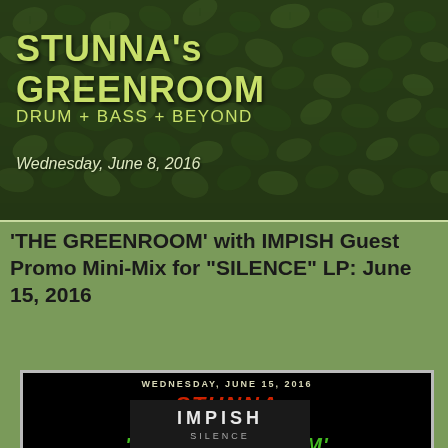[Figure (illustration): Dark green leafy background header with site branding]
STUNNA's GREENROOM
DRUM + BASS + BEYOND
Wednesday, June 8, 2016
'THE GREENROOM' with IMPISH Guest Promo Mini-Mix for "SILENCE" LP: June 15, 2016
[Figure (illustration): Black promotional image showing: WEDNESDAY, JUNE 15, 2016 / STUNNA / presents / 'THE GREENROOM' / IMPISH / SILENCE]